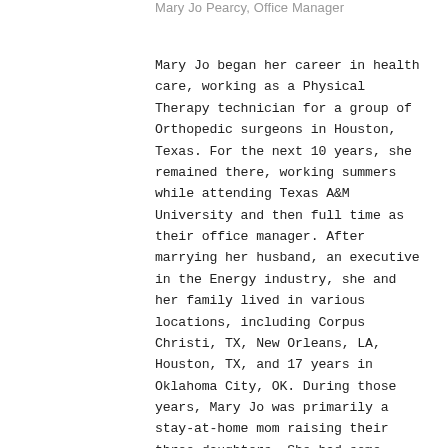Mary Jo Pearcy, Office Manager
Mary Jo began her career in health care, working as a Physical Therapy technician for a group of Orthopedic surgeons in Houston, Texas. For the next 10 years, she remained there, working summers while attending Texas A&M University and then full time as their office manager. After marrying her husband, an executive in the Energy industry, she and her family lived in various locations, including Corpus Christi, TX, New Orleans, LA, Houston, TX, and 17 years in Oklahoma City, OK. During those years, Mary Jo was primarily a stay-at-home mom raising their three daughters. She had some interesting jobs and volunteer positions, including PE teacher at her girls' school, managing a kitchen in a tearoom, her own catering business, President of the PTA, and many ministries within her church.